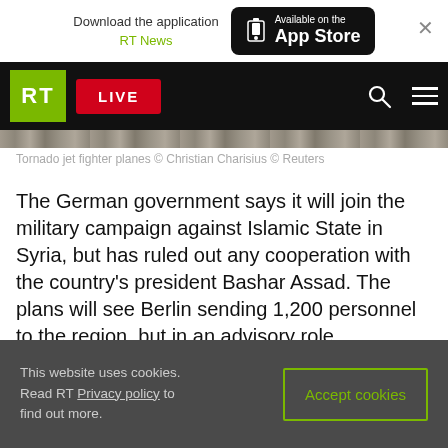Download the application RT News — Available on the App Store
[Figure (screenshot): RT News website navigation bar with RT logo, LIVE button, search icon, and hamburger menu on black background]
Tornado jet fighter planes © Christian Charisius © Reuters
The German government says it will join the military campaign against Islamic State in Syria, but has ruled out any cooperation with the country's president Bashar Assad. The plans will see Berlin sending 1,200 personnel to the region, but in an advisory role.
The decision to commit to the fight against Islamic
This website uses cookies. Read RT Privacy policy to find out more. Accept cookies